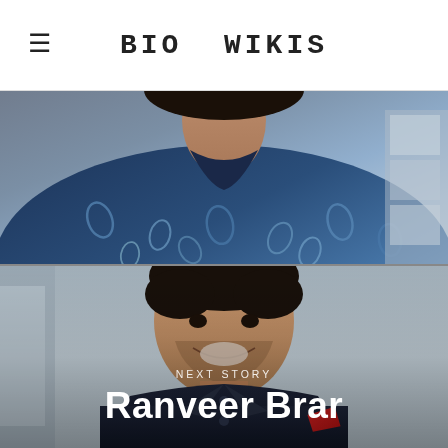BIO WIKIS
[Figure (photo): Upper portion of a person wearing a dark blue floral/paisley patterned shirt, showing neck and torso area]
[Figure (photo): Man smiling, wearing a dark navy jacket with a red pocket square, standing against a light grey background. Text overlay reads 'NEXT STORY' and 'Ranveer Brar']